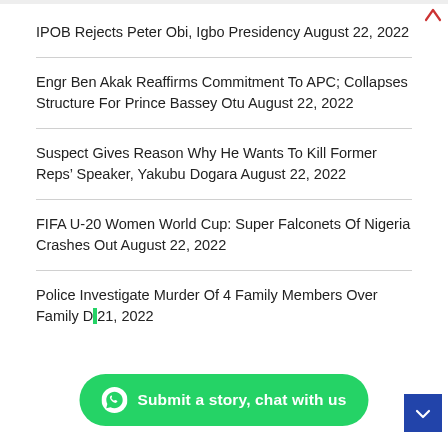IPOB Rejects Peter Obi, Igbo Presidency August 22, 2022
Engr Ben Akak Reaffirms Commitment To APC; Collapses Structure For Prince Bassey Otu August 22, 2022
Suspect Gives Reason Why He Wants To Kill Former Reps’ Speaker, Yakubu Dogara August 22, 2022
FIFA U-20 Women World Cup: Super Falconets Of Nigeria Crashes Out August 22, 2022
Police Investigate Murder Of 4 Family Members Over Family D… 21, 2022
Submit a story, chat with us